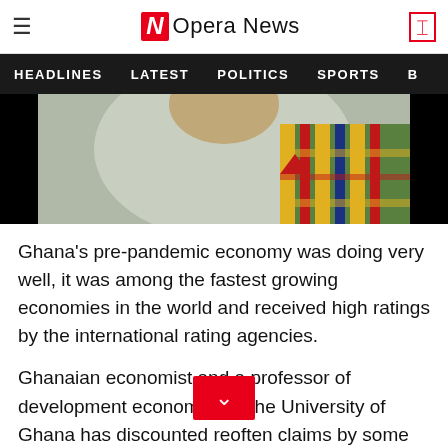Opera News
[Figure (photo): Person wearing colorful kente cloth, photo cropped showing shoulders and lower face area against black background]
Ghana's pre-pandemic economy was doing very well, it was among the fastest growing economies in the world and received high ratings by the international rating agencies.
Ghanaian economist and a professor of development economics at the University of Ghana has discounted reoften claims by some po that the country is not